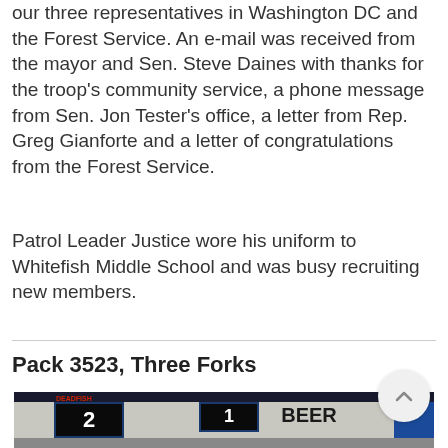our three representatives in Washington DC and the Forest Service. An e-mail was received from the mayor and Sen. Steve Daines with thanks for the troop's community service, a phone message from Sen. Jon Tester's office, a letter from Rep. Greg Gianforte and a letter of congratulations from the Forest Service.
Patrol Leader Justice wore his uniform to Whitefish Middle School and was busy recruiting new members.
Pack 3523, Three Forks
[Figure (photo): Photo of an indoor scene, partially visible, showing signage including the word BEER and a number 2 display board.]